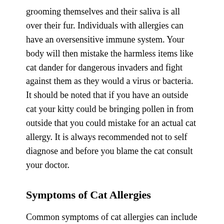grooming themselves and their saliva is all over their fur. Individuals with allergies can have an oversensitive immune system. Your body will then mistake the harmless items like cat dander for dangerous invaders and fight against them as they would a virus or bacteria. It should be noted that if you have an outside cat your kitty could be bringing pollen in from outside that you could mistake for an actual cat allergy. It is always recommended not to self diagnose and before you blame the cat consult your doctor.
Symptoms of Cat Allergies
Common symptoms of cat allergies can include sneezing, coughing, rashes, red and itchy eyes, a runny and stuffy nose. A visit to your doctor will confirm if in fact you have a cat allergy. This is